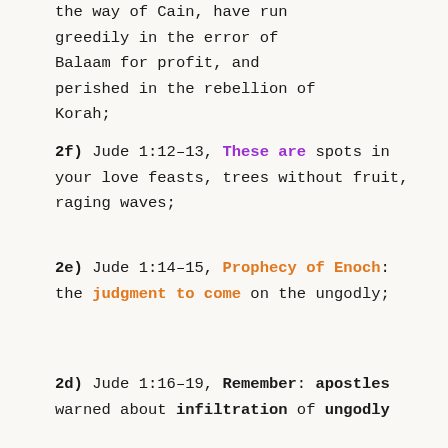the way of Cain, have run greedily in the error of Balaam for profit, and perished in the rebellion of Korah;
2f) Jude 1:12-13, These are spots in your love feasts, trees without fruit, raging waves;
2e) Jude 1:14-15, Prophecy of Enoch: the judgment to come on the ungodly;
2d) Jude 1:16-19, Remember: apostles warned about infiltration of ungodly